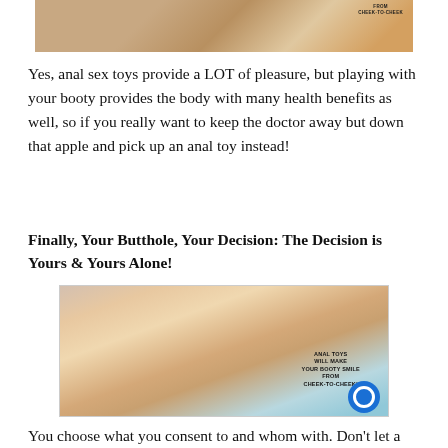[Figure (photo): Top portion of a photo showing a person from behind with text overlay reading 'FROM CHEEK-TO-CHEEK']
Yes, anal sex toys provide a LOT of pleasure, but playing with your booty provides the body with many health benefits as well, so if you really want to keep the doctor away but down that apple and pick up an anal toy instead!
Finally, Your Butthole, Your Decision: The Decision is Yours & Yours Alone!
[Figure (photo): Photo of a person in a blue bikini from behind with text overlay reading 'ANAL TOYS WILL MAKE YOUR BOOTY SMILE FROM CHEEK-TO-CHEEK!' and a blue chat bubble icon in the bottom right corner]
You choose what you consent to and whom with. Don't let a